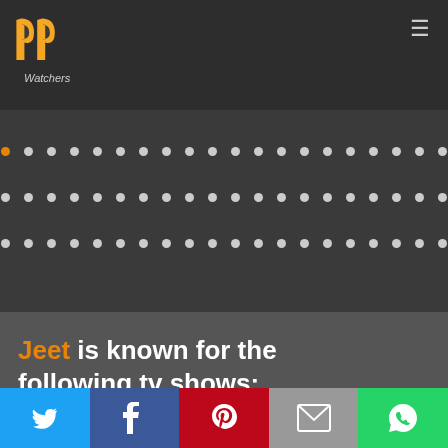PP Watchers
[Figure (screenshot): Dot grid carousel with orange first dot, navigation arrows, and three navigation dots at bottom]
Jeet is known for the following tv shows:
[Figure (infographic): Social sharing bar with Twitter, Facebook, Pinterest, Email, and WhatsApp buttons]